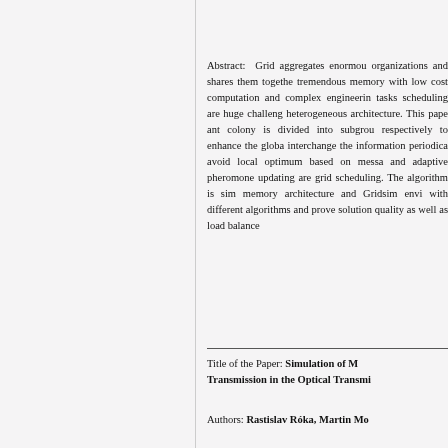Abstract: Grid aggregates enormous organizations and shares them together, tremendous memory with low cost computation and complex engineering tasks scheduling are huge challenges in heterogeneous architecture. This paper, ant colony is divided into subgroups respectively to enhance the global, interchange the information periodically, avoid local optimum based on message and adaptive pheromone updating are grid scheduling. The algorithm is simulated memory architecture and Gridsim environment with different algorithms and prove solution quality as well as load balance...
Title of the Paper: Simulation of M... Transmission in the Optical Transmi...
Authors: Rastislav Róka, Martin Mo...